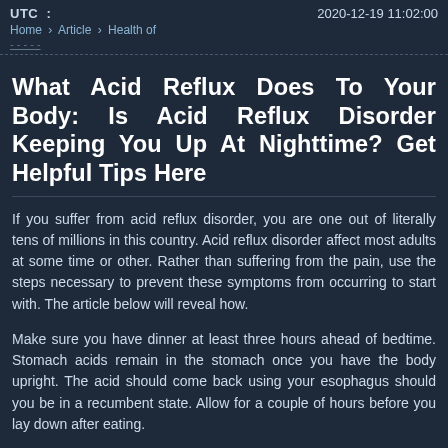UTC   2020-12-19 11:02:00
Home › Article › Health of
What Acid Reflux Does To Your Body: Is Acid Reflux Disorder Keeping You Up At Nighttime? Get Helpful Tips Here
If you suffer from acid reflux disorder, you are one out of literally tens of millions in this country. Acid reflux disorder affect most adults at some time or other. Rather than suffering from the pain, use the steps necessary to prevent these symptoms from occurring to start with. The article below will reveal how.
Make sure you have dinner at least three hours ahead of bedtime. Stomach acids remain in the stomach once you have the body upright. The acid should come back using your esophagus should you be in a recumbent state. Allow for a couple of hours before you lay down after eating.